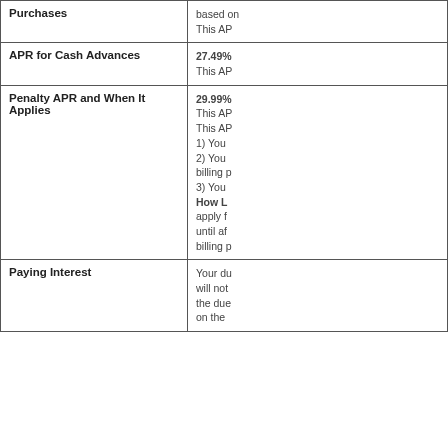| Term | Description |
| --- | --- |
| Purchases | based on...
This AP... |
| APR for Cash Advances | 27.49%
This AP... |
| Penalty APR and When It Applies | 29.99%
This AP...
This AP...
1) You...
2) You...
billing p...
3) You...
How L...
apply f...
until af...
billing p... |
| Paying Interest | Your du...
will not...
the due...
on the... |